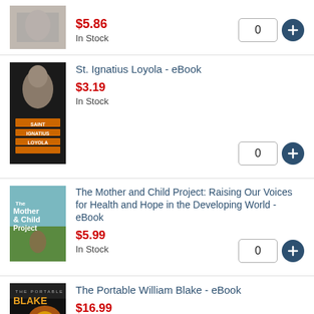[Figure (photo): Book cover - partial view, grayscale/muted tones]
$5.86
In Stock
St. Ignatius Loyola - eBook
[Figure (photo): Saint Ignatius Loyola book cover - dark background with figure looking upward, orange/gold title text]
$3.19
In Stock
The Mother and Child Project: Raising Our Voices for Health and Hope in the Developing World - eBook
[Figure (photo): The Mother and Child Project book cover - teal/blue background with woman and child]
$5.99
In Stock
The Portable William Blake - eBook
[Figure (photo): The Portable Blake book cover - dark background with orange/flame imagery]
$16.99